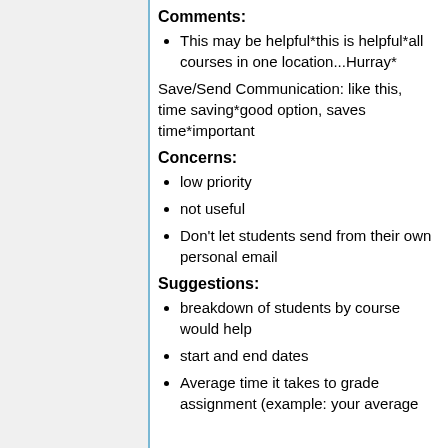Comments:
This may be helpful*this is helpful*all courses in one location...Hurray*
Save/Send Communication: like this, time saving*good option, saves time*important
Concerns:
low priority
not useful
Don't let students send from their own personal email
Suggestions:
breakdown of students by course would help
start and end dates
Average time it takes to grade assignment (example: your average